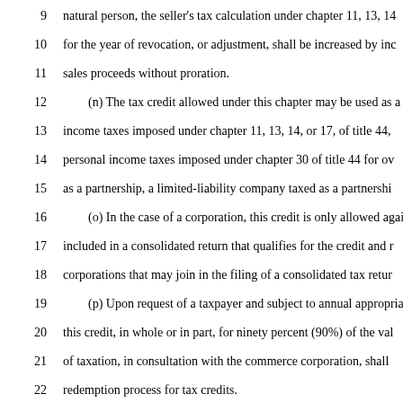9    natural person, the seller's tax calculation under chapter 11, 13, 14
10   for the year of revocation, or adjustment, shall be increased by inc
11   sales proceeds without proration.
12   (n) The tax credit allowed under this chapter may be used as a
13   income taxes imposed under chapter 11, 13, 14, or 17, of title 44,
14   personal income taxes imposed under chapter 30 of title 44 for ov
15   as a partnership, a limited-liability company taxed as a partnershi
16   (o) In the case of a corporation, this credit is only allowed agai
17   included in a consolidated return that qualifies for the credit and r
18   corporations that may join in the filing of a consolidated tax retur
19   (p) Upon request of a taxpayer and subject to annual appropria
20   this credit, in whole or in part, for ninety percent (90%) of the val
21   of taxation, in consultation with the commerce corporation, shall
22   redemption process for tax credits.
23   (q) Be ineligible to receive income tax credits under this chapter t